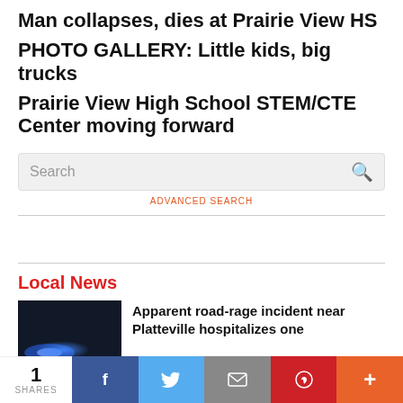Man collapses, dies at Prairie View HS
PHOTO GALLERY: Little kids, big trucks
Prairie View High School STEM/CTE Center moving forward
Search
ADVANCED SEARCH
Local News
Apparent road-rage incident near Platteville hospitalizes one
1 SHARES